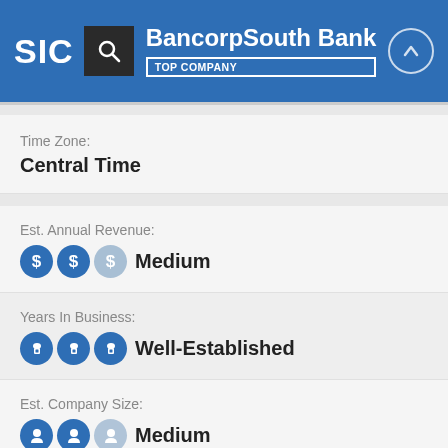SIC | BancorpSouth Bank | TOP COMPANY
Time Zone:
Central Time
Est. Annual Revenue:
Medium
Years In Business:
Well-Established
Est. Company Size:
Medium